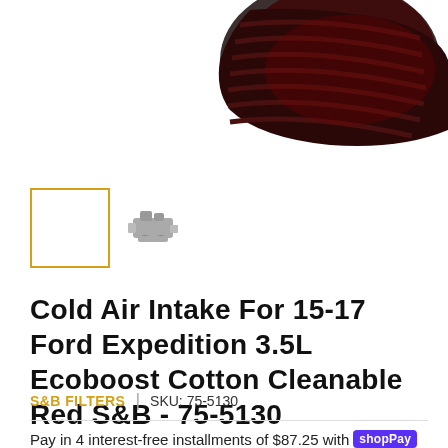[Figure (photo): Partial view of a red/black S&B cold air intake filter, shown cropped at top of page]
[Figure (photo): Two product thumbnails: a selected empty white thumbnail with gold border, and a smaller thumbnail showing a gray/dark component]
Cold Air Intake For 15-17 Ford Expedition 3.5L Ecoboost Cotton Cleanable Red S&B - 75-5130
S&B FILTERS | SKU: 75-5130
Pay in 4 interest-free installments of $87.25 with shop Pay